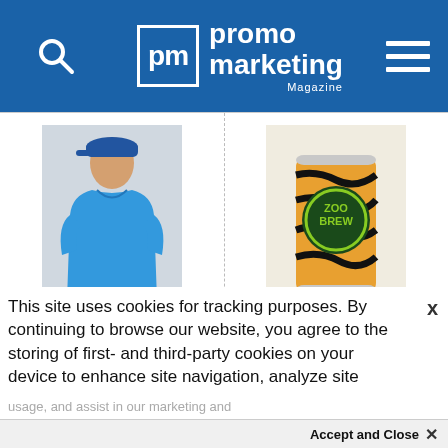[Figure (screenshot): Promo Marketing Magazine website header with search icon, PM logo, and hamburger menu on blue background]
[Figure (photo): Man in blue polo shirt and cap - Callaway product photo]
Callaway Men’s Tonal Polo
$0.00
[Figure (photo): Can with orange and black tiger stripe koozie printed with Zoo Brew logo]
Custom Patented Coolie Beverage Ins
$2.23
This site uses cookies for tracking purposes. By continuing to browse our website, you agree to the storing of first- and third-party cookies on your device to enhance site navigation, analyze site usage, and assist in our marketing and
Accept and Close ×
Your browser settings do not allow cross-site tracking for advertising. Click on this page to allow AdRoll to use cross-site tracking to tailor ads to you. Learn more or opt out of this AdRoll tracking by clicking here. This message only appears once.